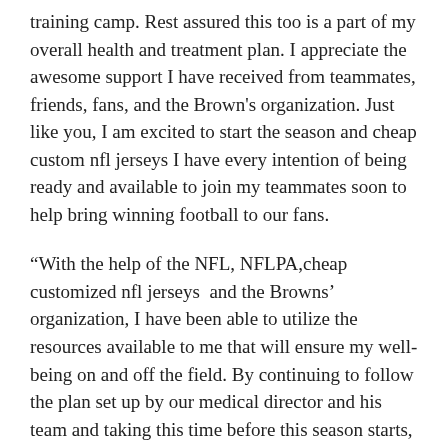training camp. Rest assured this too is a part of my overall health and treatment plan. I appreciate the awesome support I have received from teammates, friends, fans, and the Brown's organization. Just like you, I am excited to start the season and cheap custom nfl jerseys I have every intention of being ready and available to join my teammates soon to help bring winning football to our fans.
“With the help of the NFL, NFLPA,cheap customized nfl jerseys  and the Browns’ organization, I have been able to utilize the resources available to me that will ensure my well-being on and off the field. By continuing to follow the plan set up by our medical director and his team and taking this time before this season starts, we believe it will help me maintain the progress I’ve made for not only today but for many years to come.”cheap nfl custom jerseys
Gordon, 27, has played in just 10 NFL games over the last four seasons in large part due to repeated violations of the league’s